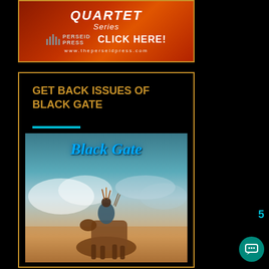[Figure (illustration): Top banner ad for Perseid Press Quartet Series with orange/red gradient background, showing 'QUARTET Series', Perseid Press logo, 'CLICK HERE!' and 'www.theperseidpress.com' text, inside an orange-bordered black box]
GET BACK ISSUES OF BLACK GATE
[Figure (illustration): Black Gate magazine cover showing 'Black Gate' title in blue fantasy font, with an illustrated warrior/rider on horseback against a dramatic sky background]